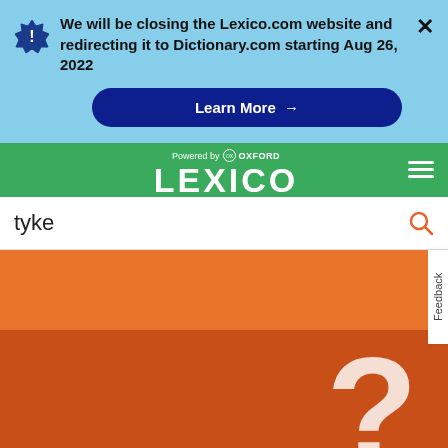We will be closing the Lexico.com website and redirecting it to Dictionary.com starting Aug 26, 2022
Learn More →
[Figure (screenshot): Lexico powered by Oxford logo with green navigation bar and hamburger menu]
tyke
[Figure (photo): Orange banner with large white question mark, partially visible]